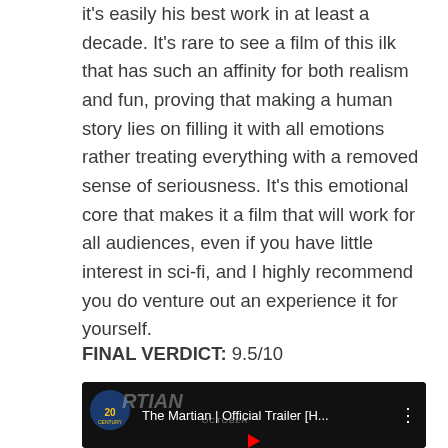it's easily his best work in at least a decade. It's rare to see a film of this ilk that has such an affinity for both realism and fun, proving that making a human story lies on filling it with all emotions rather treating everything with a removed sense of seriousness. It's this emotional core that makes it a film that will work for all audiences, even if you have little interest in sci-fi, and I highly recommend you do venture out an experience it for yourself.
FINAL VERDICT: 9.5/10
[Figure (screenshot): YouTube video thumbnail for 'The Martian | Official Trailer [H...' with 20th Century Fox logo and a dark cinematic background showing a person's face.]